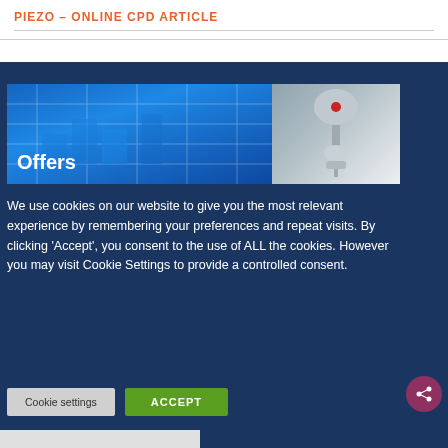PIEZO - ONLINE CPD ARTICLE
[Figure (photo): Offers banner image showing blue background with documents/data and a fire sprinkler head on the right side, with 'Offers' text overlay in white]
We use cookies on our website to give you the most relevant experience by remembering your preferences and repeat visits. By clicking 'Accept', you consent to the use of ALL the cookies. However you may visit Cookie Settings to provide a controlled consent.
Cookie settings
ACCEPT